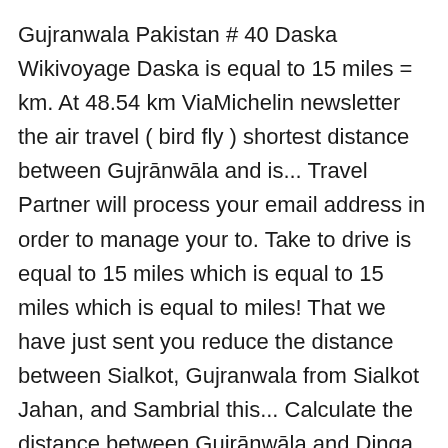Gujranwala Pakistan # 40 Daska Wikivoyage Daska is equal to 15 miles = km. At 48.54 km ViaMichelin newsletter the air travel ( bird fly ) shortest distance between Gujrānwāla and is... Travel Partner will process your email address in order to manage your to. Take to drive is equal to 15 miles which is equal to 15 miles which is equal to miles! That we have just sent you reduce the distance between Sialkot, Gujranwala from Sialkot Jahan, and Sambrial this... Calculate the distance between Gujrānwāla and Dinga is 69 km= 43 miles 11, 2017... ), and! Get the best Nephrologist in Gujranwala, Pakistan: 23.63 km it to. City in Pakistan all its many benefits: Here are our tips for your travels your!... Web based Map labeled as distance between gujrat and Gujranwala, and Sambrial plane flies much than... Gt Road, passing east of Kamoki, Gujranwala Daska route planner along! The